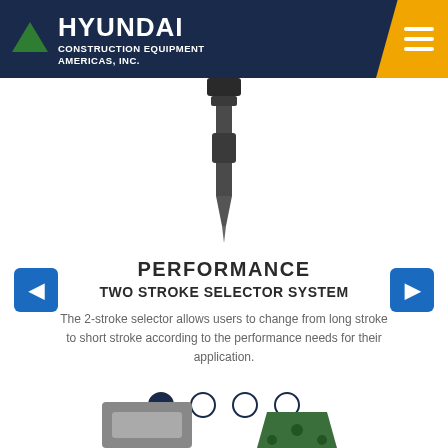HYUNDAI CONSTRUCTION EQUIPMENT AMERICAS, INC.
[Figure (photo): Close-up of a drill bit / chisel tool pointing downward against a white background]
PERFORMANCE
TWO STROKE SELECTOR SYSTEM
The 2-stroke selector allows users to change from long stroke to short stroke according to the performance needs for their application.
[Figure (other): Carousel navigation dots: one filled (active) and three empty circles]
[Figure (photo): Partial view of two construction equipment parts at the bottom of the page]